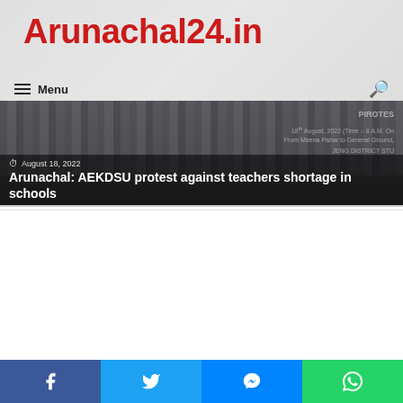Arunachal24.in
Menu
[Figure (photo): Protest banner photo with crowd, dated August 18, 2022. Headline overlay: Arunachal: AEKDSU protest against teachers shortage in schools]
Stories from Northeast
PM dedicates BCPL and wax plant to the Nation
February 5, 2016
Facebook | Twitter | Messenger | WhatsApp